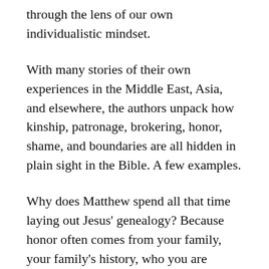through the lens of our own individualistic mindset.
With many stories of their own experiences in the Middle East, Asia, and elsewhere, the authors unpack how kinship, patronage, brokering, honor, shame, and boundaries are all hidden in plain sight in the Bible. A few examples.
Why does Matthew spend all that time laying out Jesus' genealogy? Because honor often comes from your family, your family's history, who you are related to. To be descended from Abraham and David brings great honor (Mt 1:1).